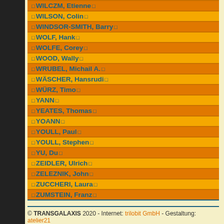¤ WILSON, Colin ¤
¤ WINDSOR-SMITH, Barry ¤
¤ WOLF, Hank ¤
¤ WOLFE, Corey ¤
¤ WOOD, Wally ¤
¤ WRUBEL, Michail A. ¤
¤ WÄSCHER, Hansrudi ¤
¤ WÜRZ, Timo ¤
¤ YANN ¤
¤ YEATES, Thomas ¤
¤ YOANN ¤
¤ YOULL, Paul ¤
¤ YOULL, Stephen ¤
¤ YU, Du ¤
¤ ZEIDLER, Ulrich ¤
¤ ZELEZNIK, John ¤
¤ ZUCCHERI, Laura ¤
¤ ZUMSTEIN, Franz ¤
© TRANSGALAXIS 2020 - Internet: trilobit GmbH - Gestaltung: atelier21